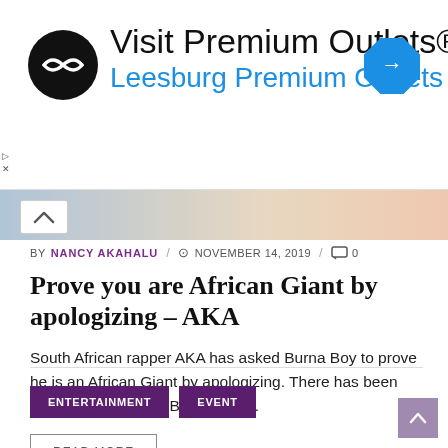[Figure (other): Advertisement banner: Visit Premium Outlets® Leesburg Premium Outlets, with circular black logo and blue diamond arrow icon]
[Figure (photo): Partially visible collapsed image bar with colorful graphic, with a chevron/up arrow collapse button on the left]
BY NANCY AKAHALU / NOVEMBER 14, 2019 / 0
Prove you are African Giant by apologizing – AKA
South African rapper AKA has asked Burna Boy to prove he is an African Giant by apologizing. There has been series of talks since Burna Boy ...
READ MORE
ENTERTAINMENT   EVENT